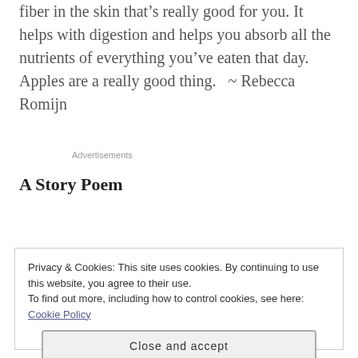fiber in the skin that’s really good for you. It helps with digestion and helps you absorb all the nutrients of everything you’ve eaten that day. Apples are a really good thing.   ~ Rebecca Romijn
Advertisements
A Story Poem
Privacy & Cookies: This site uses cookies. By continuing to use this website, you agree to their use.
To find out more, including how to control cookies, see here: Cookie Policy
Close and accept